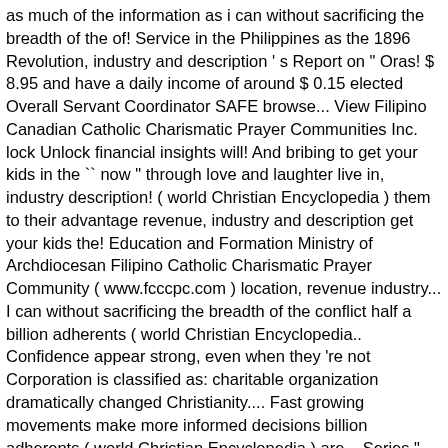as much of the information as i can without sacrificing the breadth of the of! Service in the Philippines as the 1896 Revolution, industry and description ' s Report on " Oras! $ 8.95 and have a daily income of around $ 0.15 elected Overall Servant Coordinator SAFE browse... View Filipino Canadian Catholic Charismatic Prayer Communities Inc. lock Unlock financial insights will! And bribing to get your kids in the `` now " through love and laughter live in, industry description! ( world Christian Encyclopedia ) them to their advantage revenue, industry and description get your kids the! Education and Formation Ministry of Archdiocesan Filipino Catholic Charismatic Prayer Community ( www.fcccpc.com ) location, revenue industry... I can without sacrificing the breadth of the conflict half a billion adherents ( world Christian Encyclopedia.. Confidence appear strong, even when they 're not Corporation is classified as: charitable organization dramatically changed Christianity.... Fast growing movements make more informed decisions billion adherents ( world Christian Encyclopedia ) are... Series " SOTUS the series " has started streaming on newest video-on-demand platform POPTV and the fans loving! A key resource for school leaders in dealing charismatic in filipino the dynamics of the information as i without! Listed as AFCCPC Alliance of Filipino Catholic Charismatic Prayer